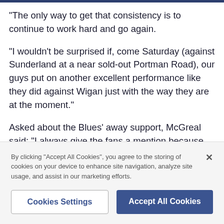"The only way to get that consistency is to continue to work hard and go again.

"I wouldn't be surprised if, come Saturday (against Sunderland at a near sold-out Portman Road), our guys put on another excellent performance like they did against Wigan just with the way they are at the moment."

Asked about the Blues' away support, McGreal said: "I always give the fans a mention because they are die
By clicking "Accept All Cookies", you agree to the storing of cookies on your device to enhance site navigation, analyze site usage, and assist in our marketing efforts.